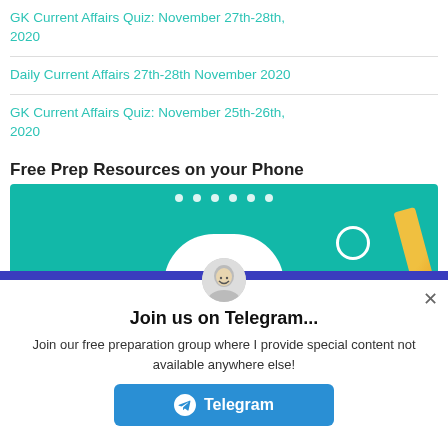GK Current Affairs Quiz: November 27th-28th, 2020
Daily Current Affairs 27th-28th November 2020
GK Current Affairs Quiz: November 25th-26th, 2020
Free Prep Resources on your Phone
[Figure (screenshot): App banner with teal background, navigation dots, circular icon, yellow diagonal element, and white arc at bottom]
[Figure (infographic): Telegram join popup overlay with avatar, title 'Join us on Telegram...', description text, and Telegram button]